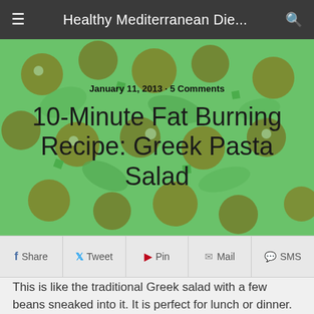Healthy Mediterranean Die...
[Figure (photo): Close-up photograph of Greek pasta salad with olives, pasta, and vegetables with a green tint overlay]
January 11, 2013 · 5 Comments
10-Minute Fat Burning Recipe: Greek Pasta Salad
Share  Tweet  Pin  Mail  SMS
This is like the traditional Greek salad with a few beans sneaked into it. It is perfect for lunch or dinner.
The main idea here is to include more fiber than regular pasta salads and several other nutrient rich foods.